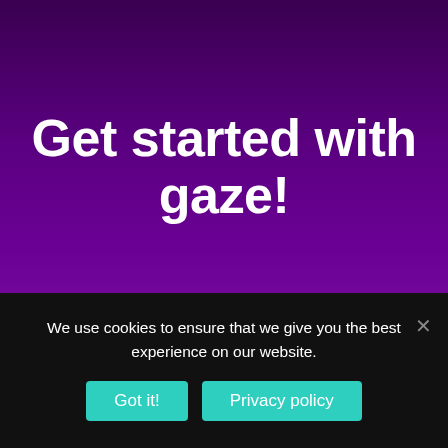Get started with gaze!
Sensory Eye FX 2 features 30 activities designed to support the development of essential visual skills such as locating a stimulus, selecting a stimulus, shifting gaze between stimuli, visual search, visual
We use cookies to ensure that we give you the best experience on our website.
Got it!
Privacy policy